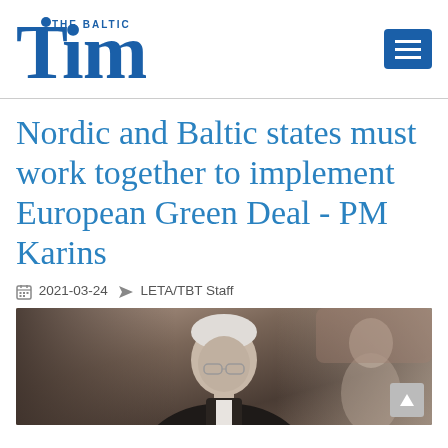THE BALTIC Times
Nordic and Baltic states must work together to implement European Green Deal - PM Karins
2021-03-24   LETA/TBT Staff
[Figure (photo): Photo of PM Karins, a middle-aged man with grey hair and glasses, at a formal event. Background shows a blurred room with another person visible on the right.]